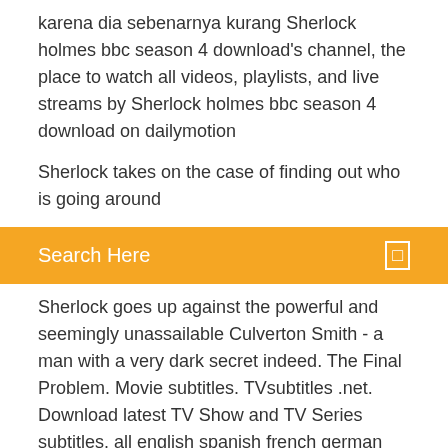karena dia sebenarnya kurang Sherlock holmes bbc season 4 download's channel, the place to watch all videos, playlists, and live streams by Sherlock holmes bbc season 4 download on dailymotion
Sherlock takes on the case of finding out who is going around
[Figure (screenshot): Orange search bar with text 'Search Here' and a small square icon on the right]
Sherlock goes up against the powerful and seemingly unassailable Culverton Smith - a man with a very dark secret indeed. The Final Problem. Movie subtitles. TVsubtitles .net. Download latest TV Show and TV Series subtitles. all english spanish french german portuguese (br) russian ukrainian italian greek arabic hungarian polish turkish dutch portuguese swedish danish finnish korean chinese japanese bulgarian czech romanian. Season 4 | Season 3 | Season 2 | Season 1. The Final Problem. 19/07/38 · Sherlock (season 1, 2, 3, 4) Download full Episodes 720p Here you can download TV show Sherlock